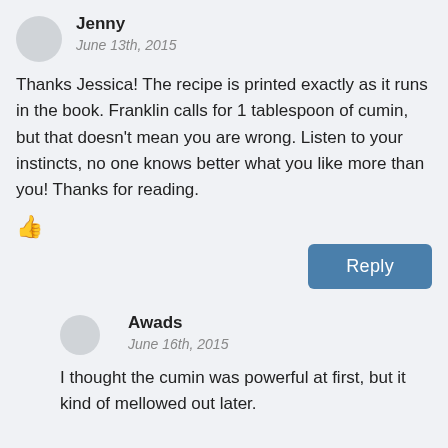Jenny
June 13th, 2015
Thanks Jessica! The recipe is printed exactly as it runs in the book. Franklin calls for 1 tablespoon of cumin, but that doesn't mean you are wrong. Listen to your instincts, no one knows better what you like more than you! Thanks for reading.
👍
Reply
Awads
June 16th, 2015
I thought the cumin was powerful at first, but it kind of mellowed out later.